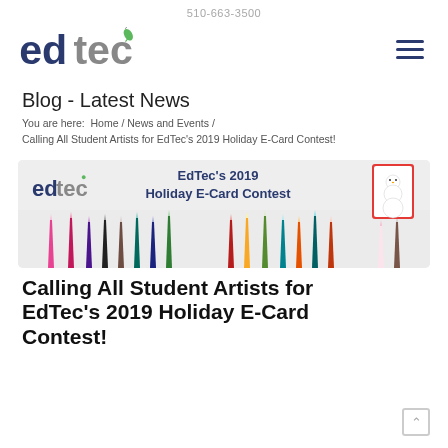510-663-3500
[Figure (logo): EdTec logo with green leaf accent on the letter c, dark blue/gray text]
[Figure (illustration): Hamburger menu icon (three horizontal lines)]
Blog - Latest News
You are here:  Home / News and Events / Calling All Student Artists for EdTec's 2019 Holiday E-Card Contest!
[Figure (photo): EdTec's 2019 Holiday E-Card Contest banner image showing colored pencils arranged in a row with the contest title text overlaid and a snowman card in top right corner]
Calling All Student Artists for EdTec's 2019 Holiday E-Card Contest!